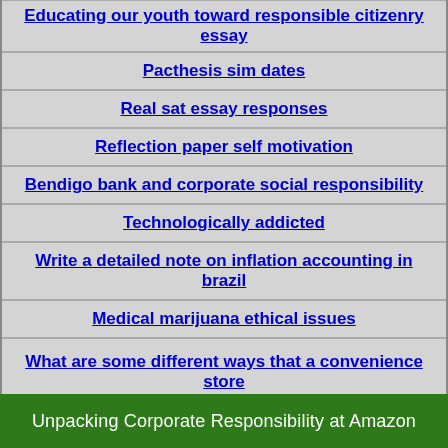Educating our youth toward responsible citizenry essay
Pacthesis sim dates
Real sat essay responses
Reflection paper self motivation
Bendigo bank and corporate social responsibility
Technologically addicted
Write a detailed note on inflation accounting in brazil
Medical marijuana ethical issues
What are some different ways that a convenience store supply chain can be responsive
Unpacking Corporate Responsibility at Amazon